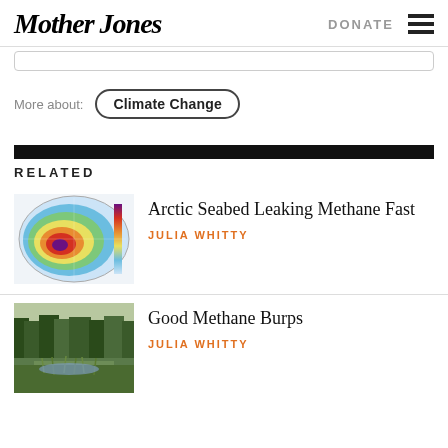Mother Jones | DONATE
More about: Climate Change
RELATED
[Figure (map): Arctic methane map showing colored concentric regions over the Arctic Ocean]
Arctic Seabed Leaking Methane Fast
JULIA WHITTY
[Figure (photo): Wetland with trees, grass, and water reflecting sky]
Good Methane Burps
JULIA WHITTY